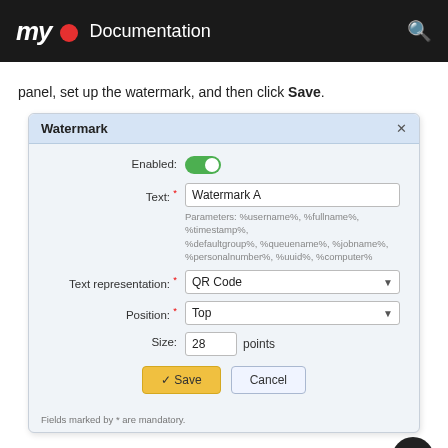myQ Documentation
panel, set up the watermark, and then click Save.
[Figure (screenshot): Watermark dialog box with fields: Enabled (toggle on), Text (Watermark A), Parameters hint, Text representation (QR Code dropdown), Position (Top dropdown), Size (28 points), Save and Cancel buttons, and mandatory fields note.]
Editing a watermark